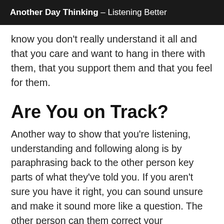Another Day Thinking – Listening Better
know you don't really understand it all and that you care and want to hang in there with them, that you support them and that you feel for them.
Are You on Track?
Another way to show that you're listening, understanding and following along is by paraphrasing back to the other person key parts of what they've told you. If you aren't sure you have it right, you can sound unsure and make it sound more like a question. The other person can them correct your understanding. Paraphrasing is a basic